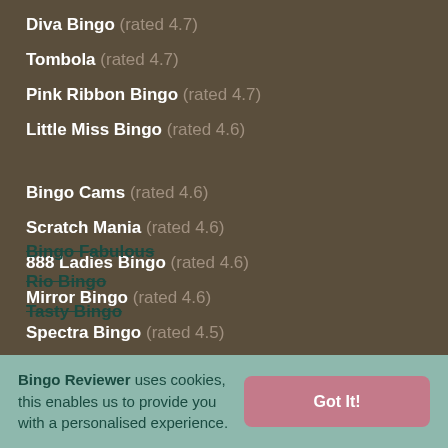Diva Bingo (rated 4.7)
Tombola (rated 4.7)
Pink Ribbon Bingo (rated 4.7)
Little Miss Bingo (rated 4.6)
Bingo Cams (rated 4.6)
Scratch Mania (rated 4.6)
888 Ladies Bingo (rated 4.6)
Mirror Bingo (rated 4.6)
Spectra Bingo (rated 4.5)
Mr Green Bingo (rated 4.5)
Bingo Fabulous
Rio Bingo
Tasty Bingo
Bingo Reviewer uses cookies, this enables us to provide you with a personalised experience. Got It!